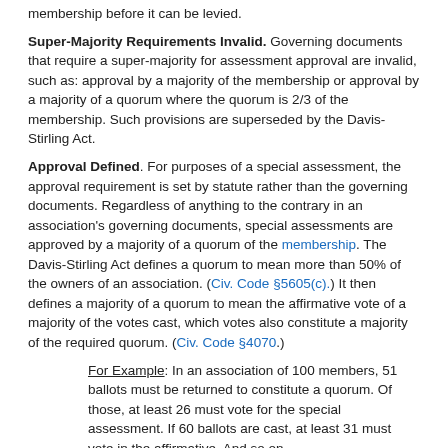membership before it can be levied.
Super-Majority Requirements Invalid. Governing documents that require a super-majority for assessment approval are invalid, such as: approval by a majority of the membership or approval by a majority of a quorum where the quorum is 2/3 of the membership. Such provisions are superseded by the Davis-Stirling Act.
Approval Defined. For purposes of a special assessment, the approval requirement is set by statute rather than the governing documents. Regardless of anything to the contrary in an association's governing documents, special assessments are approved by a majority of a quorum of the membership. The Davis-Stirling Act defines a quorum to mean more than 50% of the owners of an association. (Civ. Code §5605(c).) It then defines a majority of a quorum to mean the affirmative vote of a majority of the votes cast, which votes also constitute a majority of the required quorum. (Civ. Code §4070.)
For Example: In an association of 100 members, 51 ballots must be returned to constitute a quorum. Of those, at least 26 must vote for the special assessment. If 60 ballots are cast, at least 31 must vote in the affirmative. And so on.
Secret Ballot. A membership voting on a special assessment must be